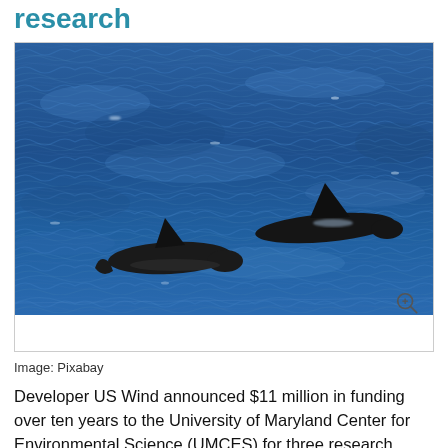research
[Figure (photo): Two marine mammals (likely dolphins or porpoises) swimming at the ocean surface, showing their dorsal fins above blue choppy water.]
Image: Pixabay
Developer US Wind announced $11 million in funding over ten years to the University of Maryland Center for Environmental Science (UMCES) for three research projects aimed at understanding the potential effects of offshore wind development on marine mammals, fish, and birds.